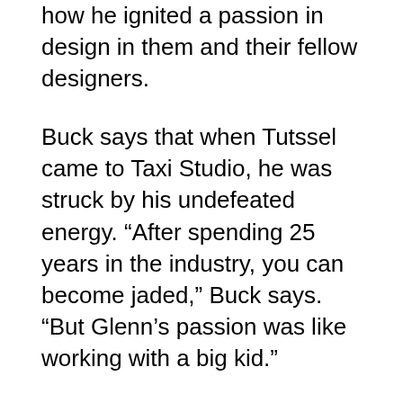how he ignited a passion in design in them and their fellow designers.
Buck says that when Tutssel came to Taxi Studio, he was struck by his undefeated energy. “After spending 25 years in the industry, you can become jaded,” Buck says. “But Glenn’s passion was like working with a big kid.”
Though serious at work, Tutssel was “congenial” at social events and the “light of every room”; known for his impression of the Welsh actor Richard Burton, according to Buck.
After leaving Taxi Studio, Tutssel set up the creative consultancy, Brand Inspiration, in 2015, building on his extensive work with brands. Most recently, he had been working with Welsh